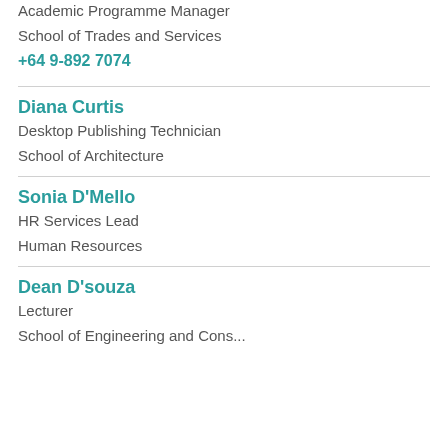Academic Programme Manager
School of Trades and Services
+64 9-892 7074
Diana Curtis
Desktop Publishing Technician
School of Architecture
Sonia D'Mello
HR Services Lead
Human Resources
Dean D'souza
Lecturer
School of Engineering and Construction